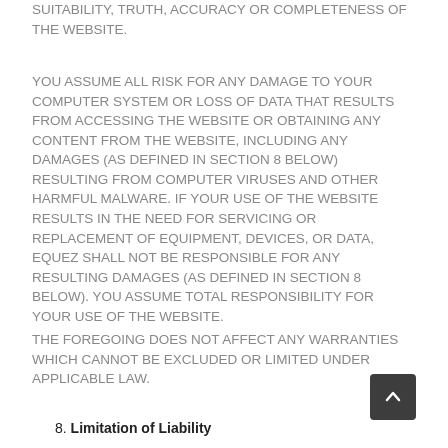SUITABILITY, TRUTH, ACCURACY OR COMPLETENESS OF THE WEBSITE.
YOU ASSUME ALL RISK FOR ANY DAMAGE TO YOUR COMPUTER SYSTEM OR LOSS OF DATA THAT RESULTS FROM ACCESSING THE WEBSITE OR OBTAINING ANY CONTENT FROM THE WEBSITE, INCLUDING ANY DAMAGES (AS DEFINED IN SECTION 8 BELOW) RESULTING FROM COMPUTER VIRUSES AND OTHER HARMFUL MALWARE. IF YOUR USE OF THE WEBSITE RESULTS IN THE NEED FOR SERVICING OR REPLACEMENT OF EQUIPMENT, DEVICES, OR DATA, EQUEZ SHALL NOT BE RESPONSIBLE FOR ANY RESULTING DAMAGES (AS DEFINED IN SECTION 8 BELOW). YOU ASSUME TOTAL RESPONSIBILITY FOR YOUR USE OF THE WEBSITE.
THE FOREGOING DOES NOT AFFECT ANY WARRANTIES WHICH CANNOT BE EXCLUDED OR LIMITED UNDER APPLICABLE LAW.
8. Limitation of Liability